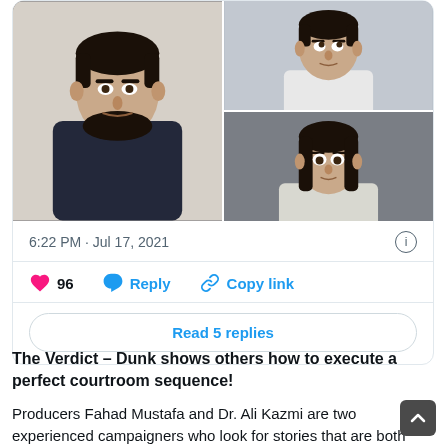[Figure (screenshot): Tweet card screenshot with a photo collage of three people (Pakistani drama actors), timestamp 6:22 PM · Jul 17, 2021, 96 likes, Reply and Copy link actions, and a Read 5 replies button.]
The Verdict – Dunk shows others how to execute a perfect courtroom sequence!
Producers Fahad Mustafa and Dr. Ali Kazmi are two experienced campaigners who look for stories that are both from our surroundings, and commercially viable a…